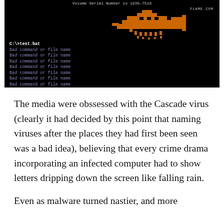[Figure (screenshot): Black terminal/DOS screen showing 'Volume Serial Number is 1835-7518' at top, an orange pixel-art graphic (Space Invaders-style) in the upper right area with 'FLAME.COM' label, and repeated lines of 'Bad command or file name' in the lower left, preceded by 'C:\>test.bat']
The media were obssessed with the Cascade virus (clearly it had decided by this point that naming viruses after the places they had first been seen was a bad idea), believing that every crime drama incorporating an infected computer had to show letters dripping down the screen like falling rain.
Even as malware turned nastier, and more